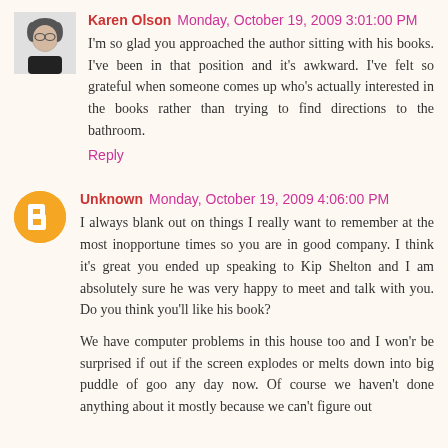[Figure (photo): Black and white profile photo of Karen Olson]
Karen Olson  Monday, October 19, 2009 3:01:00 PM
I'm so glad you approached the author sitting with his books. I've been in that position and it's awkward. I've felt so grateful when someone comes up who's actually interested in the books rather than trying to find directions to the bathroom.
Reply
[Figure (logo): Orange circle Blogger icon for Unknown user]
Unknown  Monday, October 19, 2009 4:06:00 PM
I always blank out on things I really want to remember at the most inopportune times so you are in good company. I think it's great you ended up speaking to Kip Shelton and I am absolutely sure he was very happy to meet and talk with you. Do you think you'll like his book?
We have computer problems in this house too and I won'r be surprised if out if the screen explodes or melts down into big puddle of goo any day now. Of course we haven't done anything about it mostly because we can't figure out